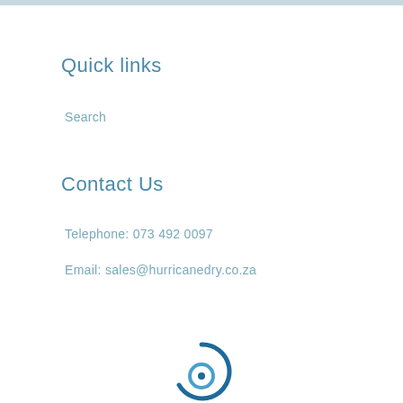Quick links
Search
Contact Us
Telephone: 073 492 0097
Email: sales@hurricanedry.co.za
[Figure (logo): Hurricane Dry company logo — blue circular swirl design]